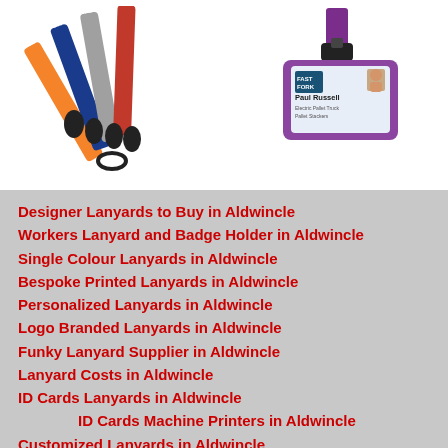[Figure (photo): Multiple colourful printed lanyards (orange, blue, red, grey) with black metal clips and text such as GOVERNOR, CONTRACTOR, STAFF, VISITOR fanned out on a white background]
[Figure (photo): A purple lanyard with a black buckle clip attached to a purple horizontal badge holder containing an ID card showing a man named Paul Russell with a photo and company details (Fast Fork)]
Designer Lanyards to Buy in Aldwincle
Workers Lanyard and Badge Holder in Aldwincle
Single Colour Lanyards in Aldwincle
Bespoke Printed Lanyards in Aldwincle
Personalized Lanyards in Aldwincle
Logo Branded Lanyards in Aldwincle
Funky Lanyard Supplier in Aldwincle
Lanyard Costs in Aldwincle
ID Cards Lanyards in Aldwincle
ID Cards Machine Printers in Aldwincle
Customized Lanyards in Aldwincle
Neck Strap Providers in Aldwincle